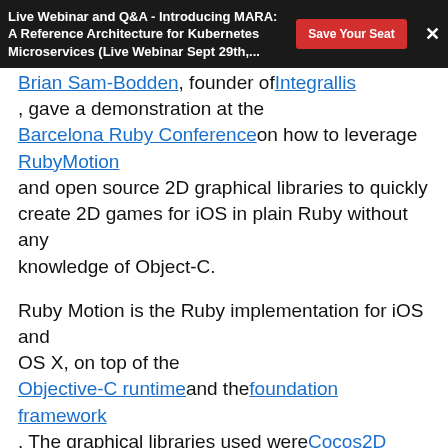Live Webinar and Q&A - Introducing MARA: A Reference Architecture for Kubernetes Microservices (Live Webinar Sept 29th,... [Save Your Seat] [X]
Brian Sam-Bodden, founder of Integrallis, gave a demonstration at the Barcelona Ruby Conference on how to leverage RubyMotion and open source 2D graphical libraries to quickly create 2D games for iOS in plain Ruby without any knowledge of Object-C.
Ruby Motion is the Ruby implementation for iOS and OS X, on top of the Objective-C runtime and the foundation framework. The graphical libraries used were Cocos2D game engine and Box2D for applying laws of physic to objects in the game. Joybox is a gem that wraps both libraries and exposes them